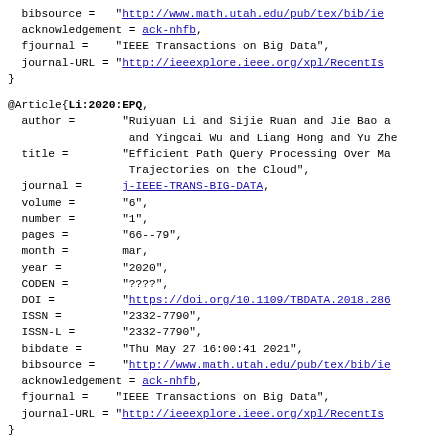bibsource =   "http://www.math.utah.edu/pub/tex/bib/ie
  acknowledgement = ack-nhfb,
  fjournal =     "IEEE Transactions on Big Data",
  journal-URL =  "http://ieeexplore.ieee.org/xpl/RecentIs
}
@Article{Li:2020:EPQ,
  author =       "Ruiyuan Li and Sijie Ruan and Jie Bao a
                  and Yingcai Wu and Liang Hong and Yu Zhe
  title =        "Efficient Path Query Processing Over Ma
                  Trajectories on the Cloud",
  journal =      j-IEEE-TRANS-BIG-DATA,
  volume =       "6",
  number =       "1",
  pages =        "66--79",
  month =        mar,
  year =         "2020",
  CODEN =        "????",
  DOI =          "https://doi.org/10.1109/TBDATA.2018.286
  ISSN =         "2332-7790",
  ISSN-L =       "2332-7790",
  bibdate =      "Thu May 27 16:00:41 2021",
  bibsource =    "http://www.math.utah.edu/pub/tex/bib/ie
  acknowledgement = ack-nhfb,
  fjournal =     "IEEE Transactions on Big Data",
  journal-URL =  "http://ieeexplore.ieee.org/xpl/RecentIs
}
@Article{Perrot:2020:CTH,
  author =       "Alexandre Perrot and David Auber",